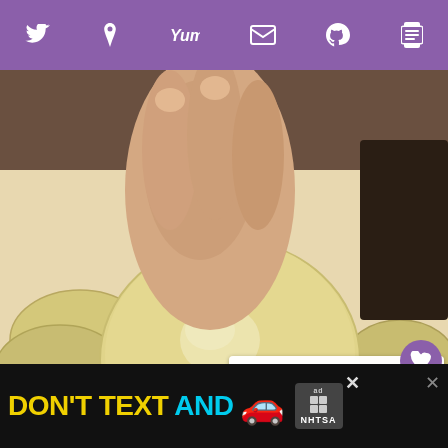Social share toolbar with Twitter, Pinterest, Yummly, email, WhatsApp, and another icon
[Figure (photo): A hand holding up a thin sliced raw potato round above a baking dish filled with overlapping potato slices. The potato slice is pale yellow and glistening with olive oil.]
[Figure (infographic): What's Next callout box with pizza sauce thumbnail image and text 'WHAT'S NEXT → The best pizza sauce ever!']
Drizzle with another 1 tsp or so, extra virgin olive oil. Sprinkle a full cup of parmesan on the potatoes. wi
[Figure (infographic): Advertisement banner: DON'T TEXT AND [car emoji] with NHTSA ad logo and close button]